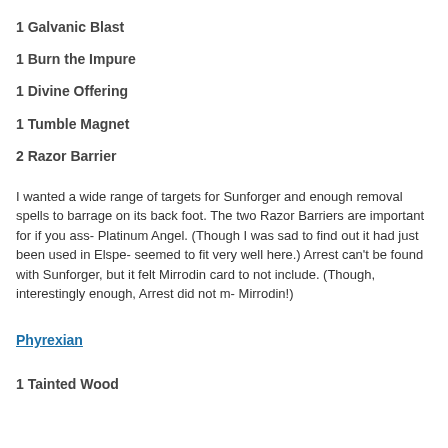1 Galvanic Blast
1 Burn the Impure
1 Divine Offering
1 Tumble Magnet
2 Razor Barrier
I wanted a wide range of targets for Sunforger and enough removal spells to barrage on its back foot. The two Razor Barriers are important for if you ass- Platinum Angel. (Though I was sad to find out it had just been used in Elspe- seemed to fit very well here.)  Arrest can't be found with Sunforger, but it felt Mirrodin card to not include. (Though, interestingly enough, Arrest did not m- Mirrodin!)
Phyrexian
1 Tainted Wood